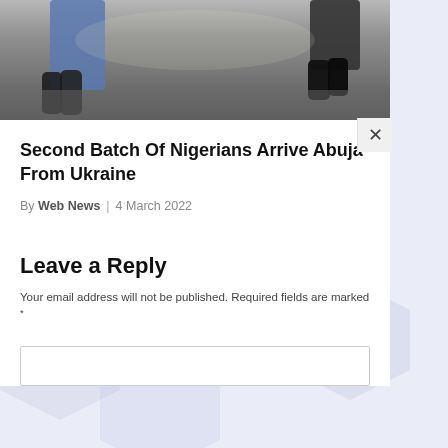[Figure (photo): Blurred photo showing feet and legs of people walking on a floor, taken from a low angle. Dark shoes and jeans visible.]
Second Batch Of Nigerians Arrive Abuja From Ukraine
By Web News | 4 March 2022
Leave a Reply
Your email address will not be published. Required fields are marked *